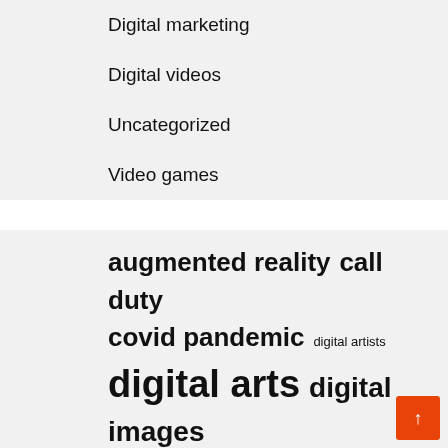Digital marketing
Digital videos
Uncategorized
Video games
augmented reality  call duty  covid pandemic  digital artists  digital arts  digital images  digital media  gaming industry  long term  los angeles  nintendo switch  real world  social media  united states